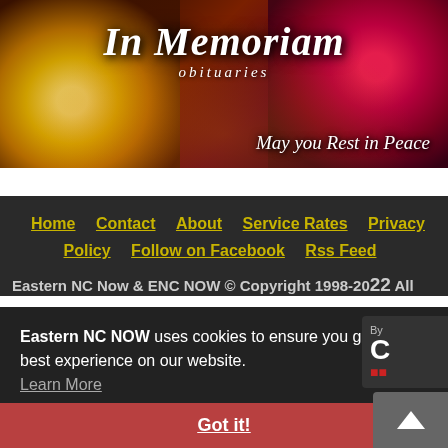[Figure (illustration): In Memoriam obituaries banner with floral background featuring orchids and red flowers. Script text reads 'In Memoriam obituaries' and 'May you Rest in Peace'.]
Home   Contact   About   Service Rates   Privacy Policy   Follow on Facebook   Rss Feed
Eastern NC Now & ENC NOW © Copyright 1998-2022 All
Eastern NC NOW uses cookies to ensure you get the best experience on our website. Learn More
Got it!